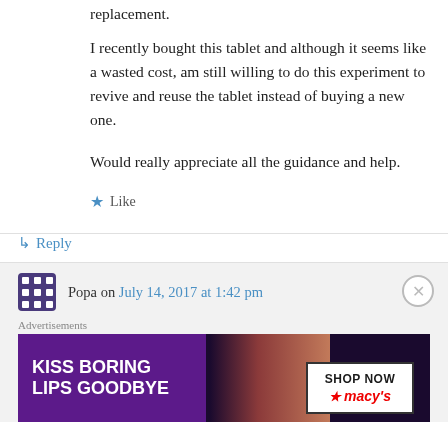replacement.
I recently bought this tablet and although it seems like a wasted cost, am still willing to do this experiment to revive and reuse the tablet instead of buying a new one.
Would really appreciate all the guidance and help.
★ Like
↳ Reply
Popa on July 14, 2017 at 1:42 pm
Advertisements
[Figure (photo): Macy's advertisement banner: KISS BORING LIPS GOODBYE with SHOP NOW button and macy's logo]